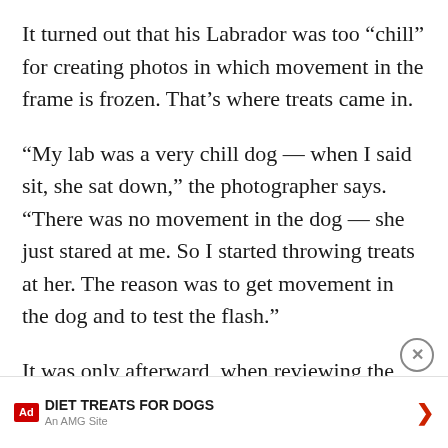It turned out that his Labrador was too “chill” for creating photos in which movement in the frame is frozen. That’s where treats came in.
“My lab was a very chill dog — when I said sit, she sat down,” the photographer says. “There was no movement in the dog — she just stared at me. So I started throwing treats at her. The reason was to get movement in the dog and to test the flash.”
It was only afterward, when reviewing the photos, that Vieler realized that he had a hilarious photo idea on his hands.
“When I saw the photos on my computer, I saw the funny results, and that was the beginning of the series,”
DIET TREATS FOR DOGS | An AMG Site